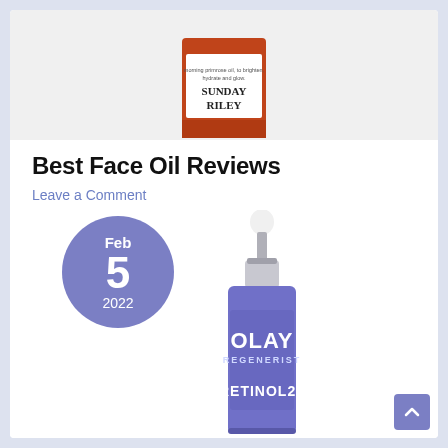[Figure (photo): Sunday Riley face oil product bottle, partially cropped at top]
Best Face Oil Reviews
Leave a Comment
[Figure (photo): Olay Regenerist Retinol24 face oil dropper bottle in purple, with a blue-purple date circle showing Feb 5 2022]